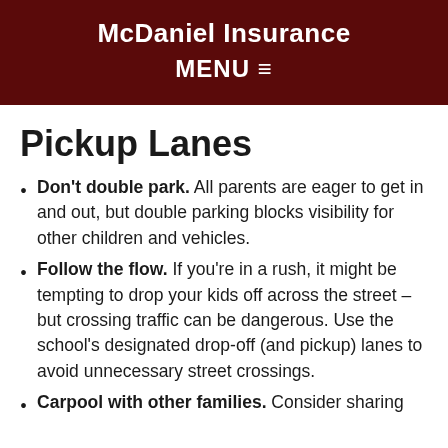McDaniel Insurance
MENU ≡
Pickup Lanes
Don't double park. All parents are eager to get in and out, but double parking blocks visibility for other children and vehicles.
Follow the flow. If you're in a rush, it might be tempting to drop your kids off across the street – but crossing traffic can be dangerous. Use the school's designated drop-off (and pickup) lanes to avoid unnecessary street crossings.
Carpool with other families. Consider sharing